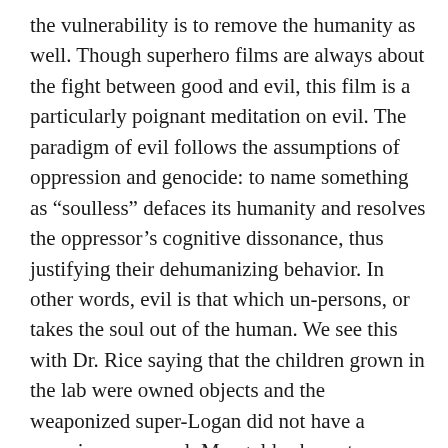the vulnerability is to remove the humanity as well. Though superhero films are always about the fight between good and evil, this film is a particularly poignant meditation on evil. The paradigm of evil follows the assumptions of oppression and genocide: to name something as “soulless” defaces its humanity and resolves the oppressor’s cognitive dissonance, thus justifying their dehumanizing behavior. In other words, evil is that which un-persons, or takes the soul out of the human. We see this with Dr. Rice saying that the children grown in the lab were owned objects and the weaponized super-Logan did not have a conscious or a soul. Mangold asks us to imagine that the other side of the coin in the fight against evil is the fight for humanity in all its vulnerable soulfulness. If evil un-persons, then goodness and belonging sustain the